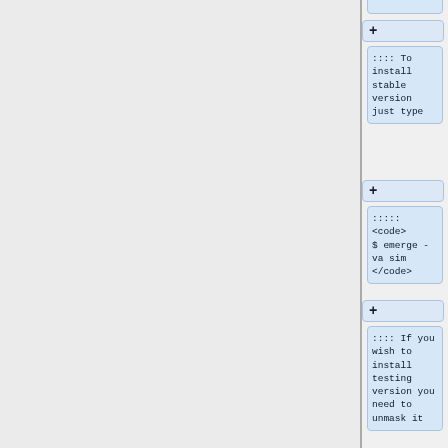:::: To install stable version just type
+
::::: <code> $ emerge -va sim </code>
+
:::: If you wish to install testing version you need to unmask it